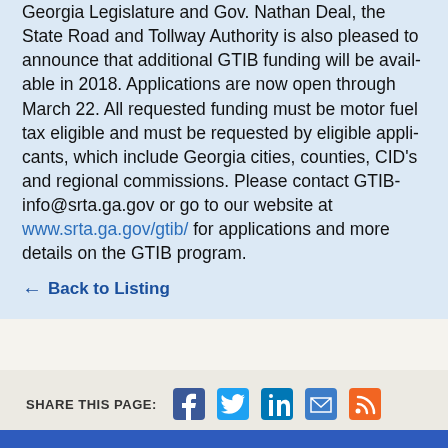Georgia Legislature and Gov. Nathan Deal, the State Road and Tollway Authority is also pleased to announce that additional GTIB funding will be available in 2018. Applications are now open through March 22. All requested funding must be motor fuel tax eligible and must be requested by eligible applicants, which include Georgia cities, counties, CID's and regional commissions. Please contact GTIBinfo@srta.ga.gov or go to our website at www.srta.ga.gov/gtib/ for applications and more details on the GTIB program.
← Back to Listing
SHARE THIS PAGE: